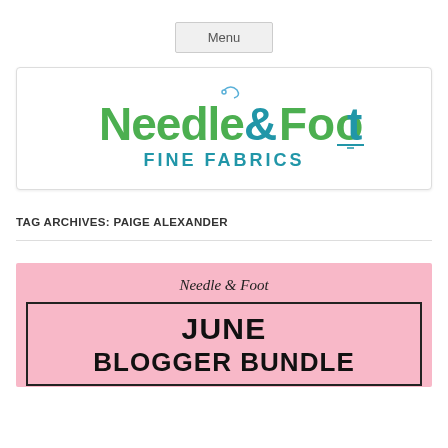Menu
[Figure (logo): Needle & Foot Fine Fabrics logo with green and blue stylized text and a needle/thread graphic]
TAG ARCHIVES: PAIGE ALEXANDER
[Figure (illustration): Pink card with italic 'Needle & Foot' text and a black-bordered box containing 'JUNE' and 'BLOGGER BUNDLE' text on pink background]